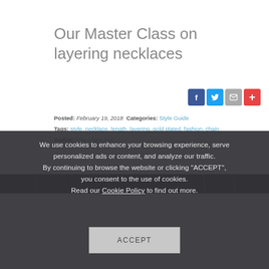Our Master Class on layering necklaces
[Figure (infographic): Social sharing icons: Facebook (blue), Twitter (light blue), Email (grey), Plus/More (red)]
Posted: February 19, 2018 Categories: Style Guide
Tags: style, necklace, length, layering, gold plated, fashion, chain
Author: The Chain Hut
[Figure (photo): Necklace chains hanging down against a dark background]
We use cookies to enhance your browsing experience, serve personalized ads or content, and analyze our traffic. By continuing to browse the website or clicking "ACCEPT", you consent to the use of cookies. Read our Cookie Policy to find out more.
ACCEPT